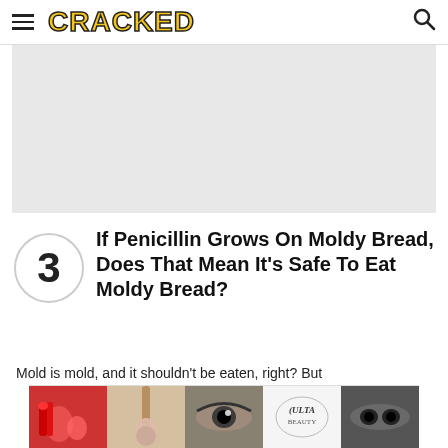CRACKED
[Figure (other): Gray advertisement placeholder rectangle]
If Penicillin Grows On Moldy Bread, Does That Mean It's Safe To Eat Moldy Bread?
Mold is mold, and it shouldn't be eaten, right? But
[Figure (infographic): Bottom banner advertisement featuring cosmetics images and Ulta Beauty branding with SHOP NOW text]